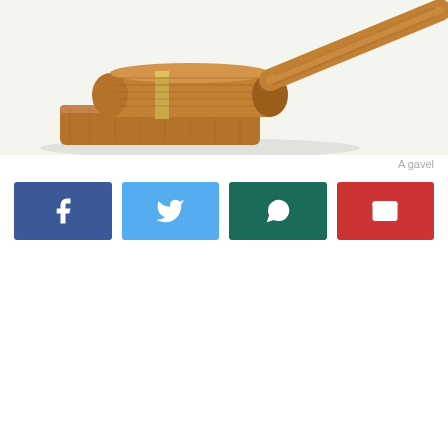[Figure (photo): A wooden judge's gavel resting on its sound block, photographed on a white background. The gavel has visible wood grain texture and the handle extends to the upper right.]
A gavel
[Figure (infographic): Four share buttons in a row: Facebook (dark blue with f icon), Twitter (light blue with bird icon), WhatsApp (dark teal with phone bubble icon), Email (red with envelope icon).]